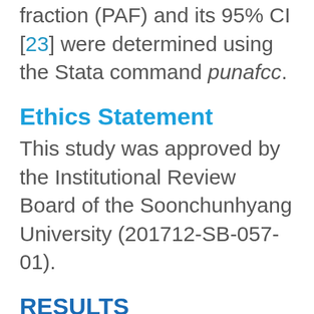fraction (PAF) and its 95% CI [23] were determined using the Stata command punafcc.
Ethics Statement
This study was approved by the Institutional Review Board of the Soonchunhyang University (201712-SB-057-01).
RESULTS